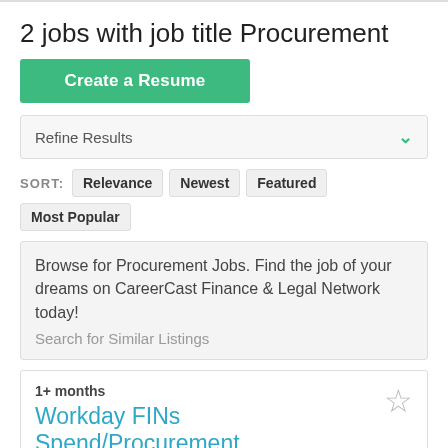2 jobs with job title Procurement
Create a Resume
Refine Results
SORT: Relevance Newest Featured Most Popular
Browse for Procurement Jobs. Find the job of your dreams on CareerCast Finance & Legal Network today! Search for Similar Listings
1+ months
Workday FINs Spend/Procurement Consultant
Accenture